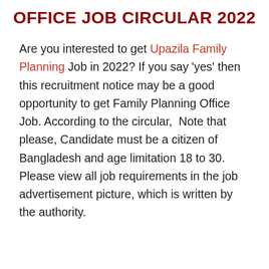OFFICE JOB CIRCULAR 2022
Are you interested to get Upazila Family Planning Job in 2022? If you say 'yes' then this recruitment notice may be a good opportunity to get Family Planning Office Job. According to the circular,  Note that please, Candidate must be a citizen of Bangladesh and age limitation 18 to 30. Please view all job requirements in the job advertisement picture, which is written by the authority.